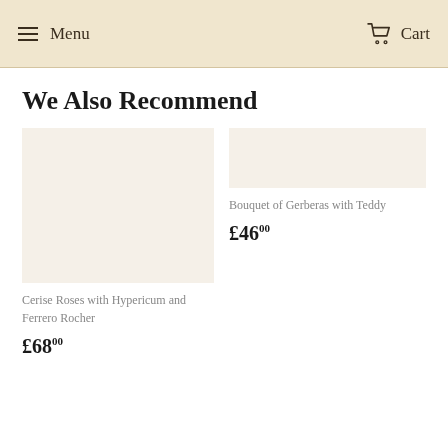Menu  Cart
We Also Recommend
Cerise Roses with Hypericum and Ferrero Rocher
£68.00
Bouquet of Gerberas with Teddy
£46.00